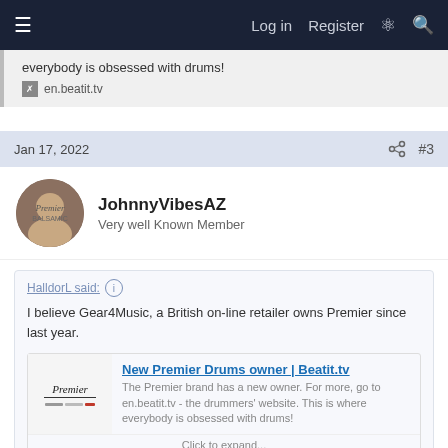Log in  Register
everybody is obsessed with drums!
en.beatit.tv
Jan 17, 2022  #3
JohnnyVibesAZ
Very well Known Member
HalldorL said:
I believe Gear4Music, a British on-line retailer owns Premier since last year.
New Premier Drums owner | Beatit.tv
The Premier brand has a new owner. For more, go to en.beatit.tv - the drummers' website. This is where everybody is obsessed with drums!
Click to expand...